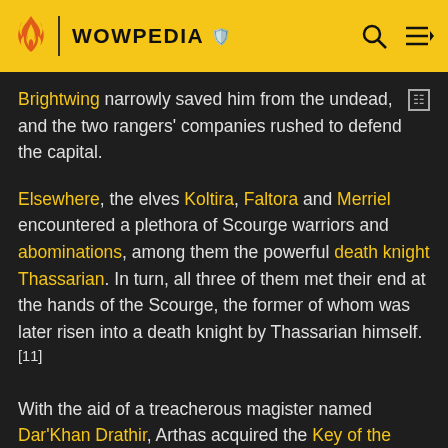WOWPEDIA
Brightwing narrowly saved him from the undead, and the two rangers' companies rushed to defend the capital.
Elsewhere, the elves Koltira, Faltora and Merriel encountered a plethora of Scourge warriors and abominations, among them the powerful death knight Thassarian. In turn, all three of them met their end at the hands of the Scourge, the former of whom was later risen into a death knight by Thassarian himself.[11]
With the aid of a treacherous magister named Dar'Khan Drathir, Arthas acquired the Key of the Three Moons,